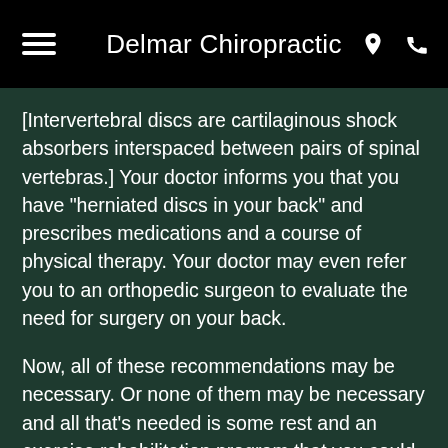Delmar Chiropractic
[Intervertebral discs are cartilaginous shock absorbers interspaced between pairs of spinal vertebras.] Your doctor informs you that you have "herniated discs in your back" and prescribes medications and a course of physical therapy. Your doctor may even refer you to an orthopedic surgeon to evaluate the need for surgery on your back.
Now, all of these recommendations may be necessary. Or none of them may be necessary and all that's needed is some rest and an exercise rehabilitation program that you could do on your own if you were given the proper instructions. The culprit here is how the presence of the herniated disc or discs is interpreted. It's important to remember that not all herniated discs are a problem requiring a solution. In fact, a sizable proportion of such disc herniations (30% or more)¹ represent the progression